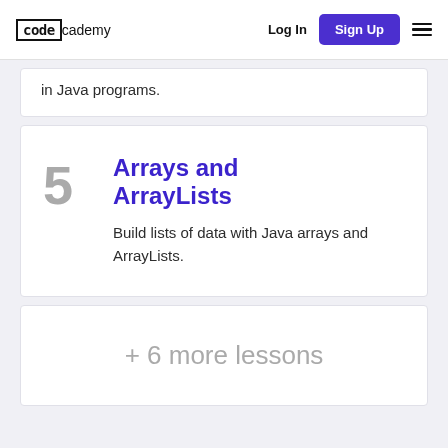codecademy  Log In  Sign Up
in Java programs.
5  Arrays and ArrayLists
Build lists of data with Java arrays and ArrayLists.
+ 6 more lessons